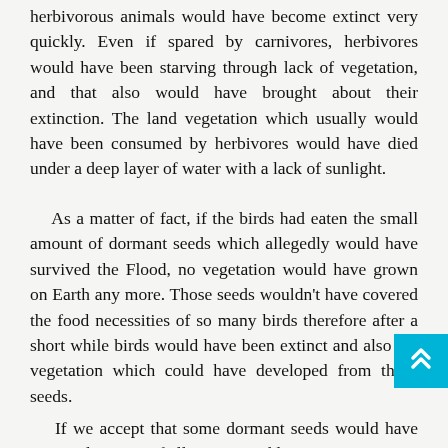herbivorous animals would have become extinct very quickly. Even if spared by carnivores, herbivores would have been starving through lack of vegetation, and that also would have brought about their extinction. The land vegetation which usually would have been consumed by herbivores would have died under a deep layer of water with a lack of sunlight.
As a matter of fact, if the birds had eaten the small amount of dormant seeds which allegedly would have survived the Flood, no vegetation would have grown on Earth any more. Those seeds wouldn't have covered the food necessities of so many birds therefore after a short while birds would have been extinct and also the vegetation which could have developed from those seeds.
If we accept that some dormant seeds would have survived in spite of all negative odds, we